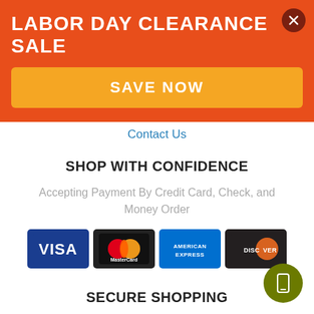LABOR DAY CLEARANCE SALE
SAVE NOW
Contact Us
SHOP WITH CONFIDENCE
Accepting Payment By Credit Card, Check, and Money Order
[Figure (logo): Payment method logos: Visa, MasterCard, American Express, Discover]
SECURE SHOPPING
Protecting Your Privacy and Security Is Our Top Priority